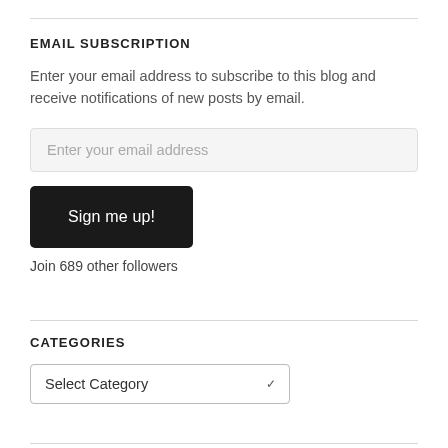EMAIL SUBSCRIPTION
Enter your email address to subscribe to this blog and receive notifications of new posts by email.
Enter your email address
Sign me up!
Join 689 other followers
CATEGORIES
Select Category